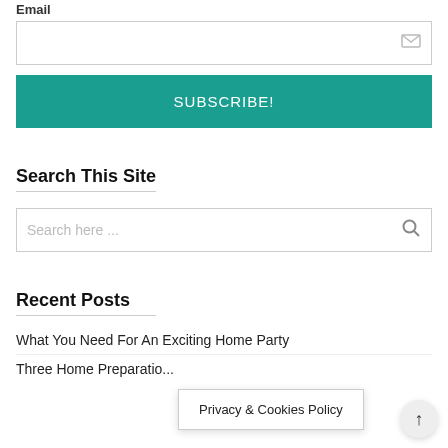Email
[Figure (other): Email input field with envelope icon]
[Figure (other): Subscribe button in teal/green color with text SUBSCRIBE!]
Search This Site
[Figure (other): Search input field with placeholder 'Search here ...' and magnifying glass icon]
Recent Posts
What You Need For An Exciting Home Party
Three Home Preparatio...ll
Privacy & Cookies Policy